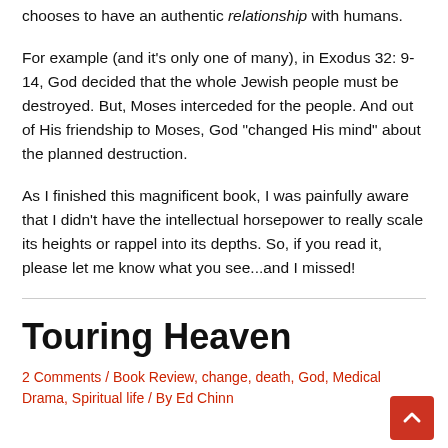chooses to have an authentic relationship with humans.
For example (and it's only one of many), in Exodus 32: 9-14, God decided that the whole Jewish people must be destroyed. But, Moses interceded for the people. And out of His friendship to Moses, God “changed His mind” about the planned destruction.
As I finished this magnificent book, I was painfully aware that I didn’t have the intellectual horsepower to really scale its heights or rappel into its depths. So, if you read it, please let me know what you see...and I missed!
Touring Heaven
2 Comments / Book Review, change, death, God, Medical Drama, Spiritual life / By Ed Chinn